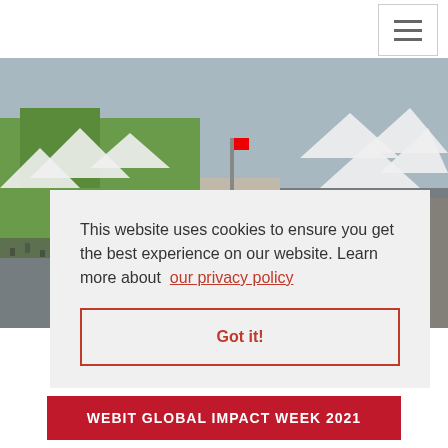[Figure (photo): Aerial view of an outdoor event with white tents, green areas, and crowds of people]
This website uses cookies to ensure you get the best experience on our website. Learn more about our privacy policy
Got it!
experience.
WEBIT GLOBAL IMPACT WEEK 2021